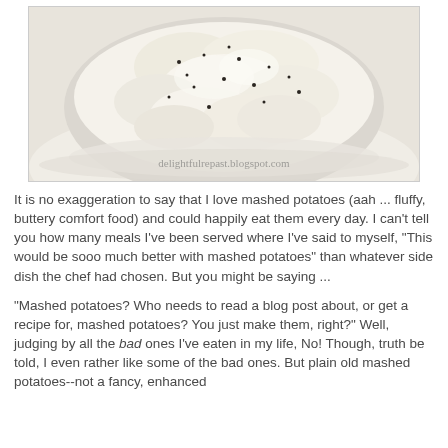[Figure (photo): A white bowl filled with fluffy mashed potatoes sprinkled with black pepper, shown from above. The bowl has a ridged edge. A watermark reads 'delightfulrepast.blogspot.com' in the lower right area of the image.]
It is no exaggeration to say that I love mashed potatoes (aah ... fluffy, buttery comfort food) and could happily eat them every day. I can't tell you how many meals I've been served where I've said to myself, "This would be sooo much better with mashed potatoes" than whatever side dish the chef had chosen. But you might be saying ...
"Mashed potatoes? Who needs to read a blog post about, or get a recipe for, mashed potatoes? You just make them, right?" Well, judging by all the bad ones I've eaten in my life, No! Though, truth be told, I even rather like some of the bad ones. But plain old mashed potatoes--not a fancy, enhanced